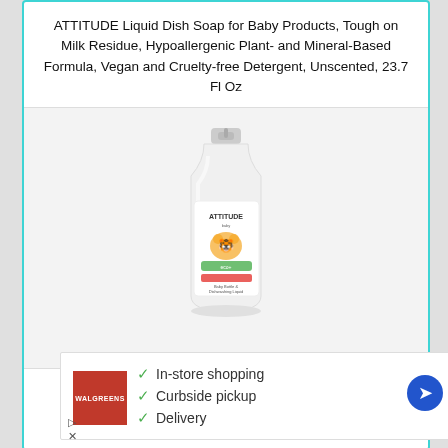ATTITUDE Liquid Dish Soap for Baby Products, Tough on Milk Residue, Hypoallergenic Plant- and Mineral-Based Formula, Vegan and Cruelty-free Detergent, Unscented, 23.7 Fl Oz
[Figure (photo): ATTITUDE brand baby dish soap bottle, white plastic bottle with pump top, label shows cartoon baby and tiger, 700ml]
Check Amazon Price
In-store shopping
Curbside pickup
Delivery